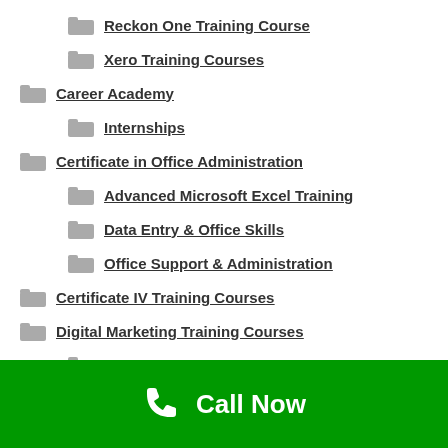Reckon One Training Course
Xero Training Courses
Career Academy
Internships
Certificate in Office Administration
Advanced Microsoft Excel Training
Data Entry & Office Skills
Office Support & Administration
Certificate IV Training Courses
Digital Marketing Training Courses
WordPress Training Courses
Call Now